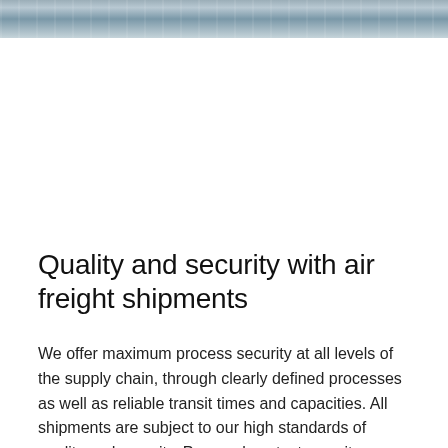[Figure (photo): Partial aerial or close-up photograph showing aircraft or freight-related imagery, cropped at top of page]
Quality and security with air freight shipments
We offer maximum process security at all levels of the supply chain, through clearly defined processes as well as reliable transit times and capacities. All shipments are subject to our high standards of quality and security. Personal contacts on site are always available for individual consultation. Thanks to Tracking &